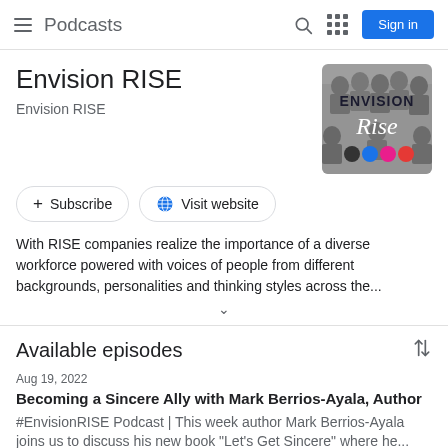Podcasts
Envision RISE
Envision RISE
[Figure (logo): Envision RISE podcast cover art showing group photo in grayscale with ENVISION text in bold blue/dark and 'Rise' in white cursive script, with four colored dots (dark gray, blue, pink, red) at the bottom]
+ Subscribe
Visit website
With RISE companies realize the importance of a diverse workforce powered with voices of people from different backgrounds, personalities and thinking styles across the...
Available episodes
Aug 19, 2022
Becoming a Sincere Ally with Mark Berrios-Ayala, Author
#EnvisionRISE Podcast | This week author Mark Berrios-Ayala joins us to discuss his new book "Let's Get Sincere" where he...